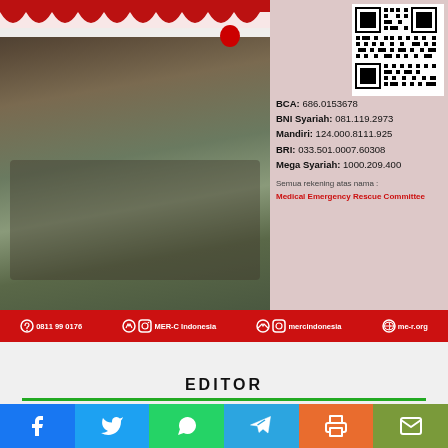[Figure (photo): Hospital scene with patients lying on beds/stretchers in a hall decorated with red and white Indonesian flags/bunting. Medical staff visible. Right side shows donation QR code and bank account information overlay for MER-C Indonesia.]
BCA: 686.0153678
BNI Syariah: 081.119.2973
Mandiri: 124.000.8111.925
BRI: 033.501.0007.60308
Mega Syariah: 1000.209.400
Semua rekening atas nama :
Medical Emergency Rescue Committee
0811 99 0176   MER-C Indonesia   mercindonesia   me-r.org
EDITOR
About Us